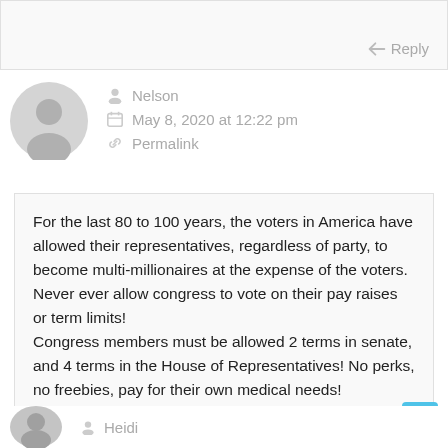FASCIST SOCIALIST COMMUNIST CULT (truncated top)
Reply
Nelson
May 8, 2020 at 12:22 pm
Permalink
For the last 80 to 100 years, the voters in America have allowed their representatives, regardless of party, to become multi-millionaires at the expense of the voters. Never ever allow congress to vote on their pay raises or term limits!
Congress members must be allowed 2 terms in senate, and 4 terms in the House of Representatives! No perks, no freebies, pay for their own medical needs!
Reply
Heidi